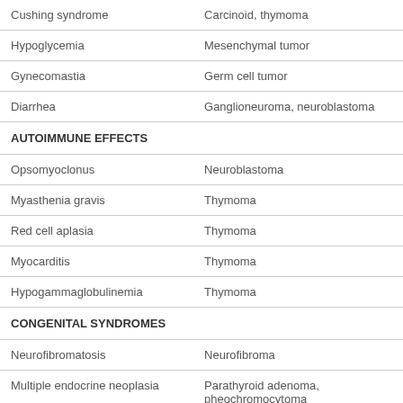| Condition | Tumor/Cause |
| --- | --- |
| Cushing syndrome | Carcinoid, thymoma |
| Hypoglycemia | Mesenchymal tumor |
| Gynecomastia | Germ cell tumor |
| Diarrhea | Ganglioneuroma, neuroblastoma |
| AUTOIMMUNE EFFECTS |  |
| Opsomyoclonus | Neuroblastoma |
| Myasthenia gravis | Thymoma |
| Red cell aplasia | Thymoma |
| Myocarditis | Thymoma |
| Hypogammaglobulinemia | Thymoma |
| CONGENITAL SYNDROMES |  |
| Neurofibromatosis | Neurofibroma |
| Multiple endocrine neoplasia | Parathyroid adenoma, pheochromocytoma |
| UNKNOWN CAUSES |  |